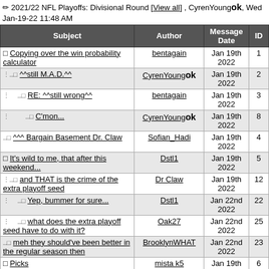2021/22 NFL Playoffs: Divisional Round [View all] , CyrenYoung ok, Wed Jan-19-22 11:48 AM
| Subject | Author | Message Date | ID |
| --- | --- | --- | --- |
| Copying over the win probability calculator | bentagain | Jan 19th 2022 | 1 |
| ^^still M.A.D.^^ | CyrenYoung ok | Jan 19th 2022 | 2 |
| RE: ^^still wrong^^ | bentagain | Jan 19th 2022 | 3 |
| C'mon... | CyrenYoung ok | Jan 19th 2022 | 8 |
| ^^^ Bargain Basement Dr. Claw | Sofian_Hadi | Jan 19th 2022 | 4 |
| It's wild to me, that after this weekend... | Dstl1 | Jan 19th 2022 | 5 |
| and THAT is the crime of the extra playoff seed | Dr Claw | Jan 19th 2022 | 12 |
| Yep, bummer for sure... | Dstl1 | Jan 22nd 2022 | 22 |
| what does the extra playoff seed have to do with it? | Oak27 | Jan 22nd 2022 | 25 |
| meh they should've been better in the regular season then | BrooklynWHAT | Jan 22nd 2022 | 23 |
| Picks | mista k5 | Jan 19th 2022 | 6 |
| Cam Akers coming back is so big for Rams. | dillinjah | Jan 19th 2022 | 7 |